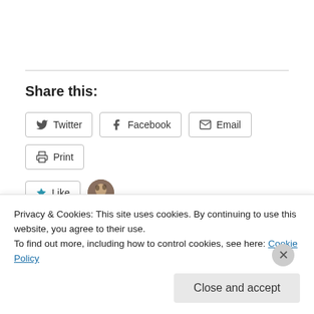Share this:
Twitter
Facebook
Email
Print
Like
One blogger likes this.
Related
Privacy & Cookies: This site uses cookies. By continuing to use this website, you agree to their use.
To find out more, including how to control cookies, see here: Cookie Policy
Close and accept